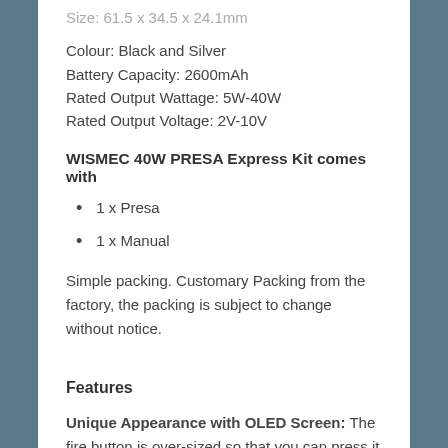Size: 61.5 x 34.5 x 24.1mm
Colour: Black and Silver
Battery Capacity: 2600mAh
Rated Output Wattage: 5W-40W
Rated Output Voltage: 2V-10V
WISMEC 40W PRESA Express Kit comes with
1 x Presa
1 x Manual
Simple packing. Customary Packing from the factory, the packing is subject to change without notice.
Features
Unique Appearance with OLED Screen: The fire button is over-sized so that you can press it for a